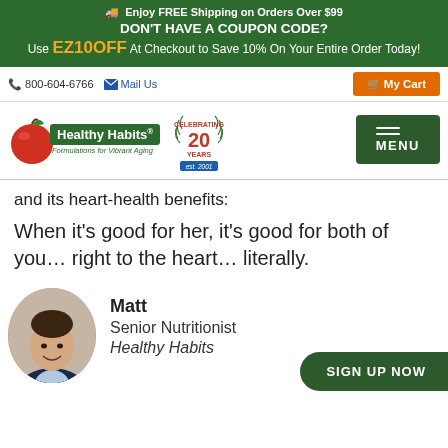🚚 Enjoy FREE Shipping on Orders Over $99
DON'T HAVE A COUPON CODE?
Use EZ10OFF At Checkout to Save 10% On Your Entire Order Today!
📞 800-604-6766 ✉ Mail Us
[Figure (logo): Healthy Habits logo with red apple, green background brand name, and tagline 'Formulations for Vibrant Aging'. Celebrating 20 Years est. 2001 anniversary badge.]
and its heart-health benefits:
When it's good for her, it's good for both of you… right to the heart… literally.
[Figure (photo): Headshot of Matt, Senior Nutritionist at Healthy Habits — young man in suit, smiling]
Matt
Senior Nutritionist
Healthy Habits
SIGN UP NOW